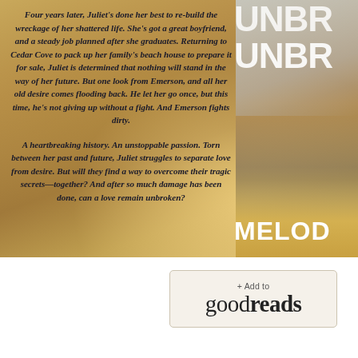[Figure (illustration): Book cover for 'Unbroken' by Melody showing a beach background in sandy golden tones with a figure and the partially visible book title 'UNBR...' repeated, alongside a blurb text overlay.]
Four years later, Juliet's done her best to rebuild the wreckage of her shattered life. She's got a great boyfriend, and a steady job planned after she graduates. Returning to Cedar Cove to pack up her family's beach house to prepare it for sale, Juliet is determined that nothing will stand in the way of her future. But one look from Emerson, and all her old desire comes flooding back. He let her go once, but this time, he's not giving up without a fight. And Emerson fights dirty.
A heartbreaking history. An unstoppable passion. Torn between her past and future, Juliet struggles to separate love from desire. But will they find a way to overcome their tragic secrets—together? And after so much damage has been done, can a love remain unbroken?
[Figure (logo): Goodreads '+ Add to goodreads' button in a light beige/cream box with border.]